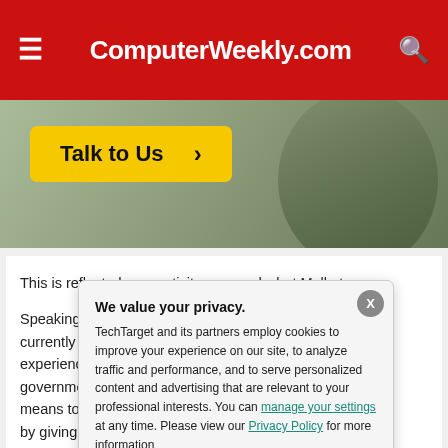ComputerWeekly.com
[Figure (photo): Advertisement banner with a yellow 'Talk to Us >' button over a photo of a person in a checkered shirt]
This is reflected connectivity on p and what Melkot
Speaking at Aru currently underw experience of hi government war means to bring t by giving every c building out a na using Wi-Fi at th
We value your privacy. TechTarget and its partners employ cookies to improve your experience on our site, to analyze traffic and performance, and to serve personalized content and advertising that are relevant to your professional interests. You can manage your settings at any time. Please view our Privacy Policy for more information